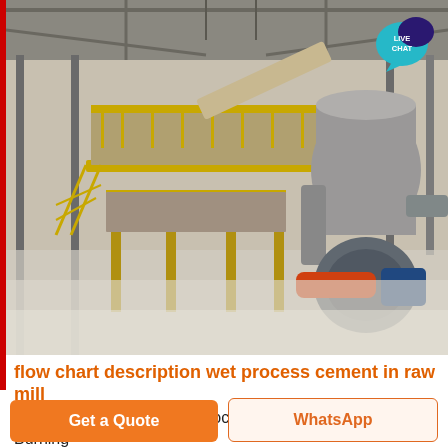[Figure (photo): Industrial cement plant interior showing large yellow-painted elevated platform structure with conveyor belts and chutes, large cylindrical mill equipment on the right with orange and blue machinery (blower/fan), inside a large industrial warehouse building with steel frame roof structure. Dusty/misty atmosphere.]
flow chart description wet process cement in raw mill
flow chart description wet process cement in raw mill Burning